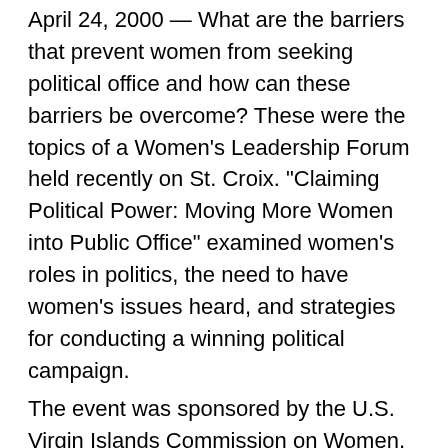April 24, 2000 — What are the barriers that prevent women from seeking political office and how can these barriers be overcome? These were the topics of a Women's Leadership Forum held recently on St. Croix. "Claiming Political Power: Moving More Women into Public Office" examined women's roles in politics, the need to have women's issues heard, and strategies for conducting a winning political campaign. The event was sponsored by the U.S. Virgin Islands Commission on Women, Women of Color Living in the Virgin Islands Path to Health Justice, and Generation Now. More than 50 women attended, including politicians and women in private and civil service. Some of the reasons discussed as to why more women don't seek political office were the challenges of raising children, support of one's family, and the support, or lack of support, of women in the community. One audience member, Mary Moorehead, said women in our society do not support other women.